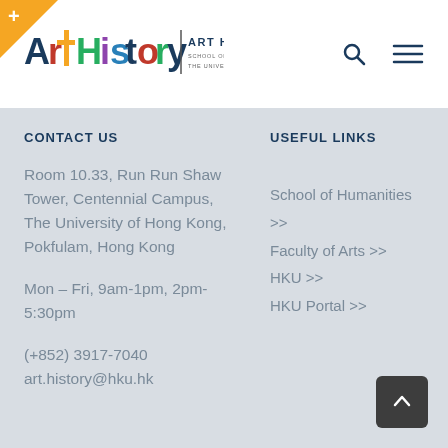[Figure (logo): Art History, School of Humanities, The University of Hong Kong logo with colorful letter icons]
CONTACT US
Room 10.33, Run Run Shaw Tower, Centennial Campus,
The University of Hong Kong, Pokfulam, Hong Kong
Mon – Fri, 9am-1pm, 2pm-5:30pm
(+852) 3917-7040
art.history@hku.hk
USEFUL LINKS
School of Humanities >>
Faculty of Arts >>
HKU >>
HKU Portal >>